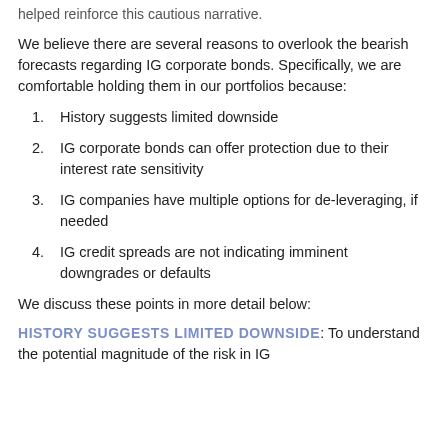helped reinforce this cautious narrative.
We believe there are several reasons to overlook the bearish forecasts regarding IG corporate bonds. Specifically, we are comfortable holding them in our portfolios because:
History suggests limited downside
IG corporate bonds can offer protection due to their interest rate sensitivity
IG companies have multiple options for de-leveraging, if needed
IG credit spreads are not indicating imminent downgrades or defaults
We discuss these points in more detail below:
HISTORY SUGGESTS LIMITED DOWNSIDE: To understand the potential magnitude of the risk in IG